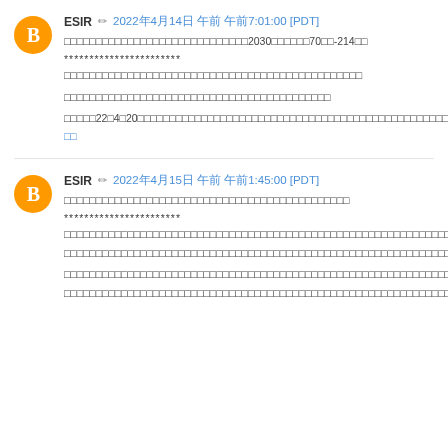ESIR ✏ 2022年4月14日 午前 午前7:01:00 [PDT]
□□□□□□□□□□□□□□□□□□□□□□□□□□□□□2030□□□□□□70□□-214□□
***********************
□□□□□□□□□□□□□□□□□□□□□□□□□□□□□□□□□□□□□□□□□□□□□□□
□□□□□□□□□□□□□□□□□□□□□□□□□□□□□□□□□□□□□□□□□□
□□□□□22□4□20□□□□□□□□□□□□□□□□□□□□□□□□□□□□□□□□□□□□□□□□□□□□□□□□□□□□□□
□□
ESIR ✏ 2022年4月15日 午前 午前1:45:00 [PDT]
□□□□□□□□□□□□□□□□□□□□□□□□□□□□□□□□□□□□□□□□□□□□□
***********************
□□□□□□□□□□□□□□□□□□□□□□□□□□□□□□□□□□□□□□□□□□□□□□□□□□□□□□□□□□□□□□□□□□□□□□□□□□□□□□□□□□□□□□□□□□□□□□□□□□□□□□□□□□□□□□□□□□□□□□□□□□□□□□□□□□□□
□□□□□□□□□□□□□□□□□□□□□□□□□□□□□□□□□□□□□□□□□□□□□□□□□□□□□□□□□□□□□□□□□□□□□□□□□□□□□□□□□□□□□□□□□□□□□□□□□□□□□□□□□□□□□□□□□□□□□□□□□□□□□□□□□□□□□□□□□□□□□□□□□□□□□□□□□□□□□□□